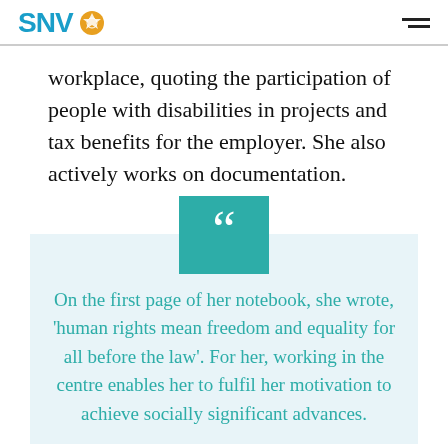SNV
workplace, quoting the participation of people with disabilities in projects and tax benefits for the employer. She also actively works on documentation.
On the first page of her notebook, she wrote, 'human rights mean freedom and equality for all before the law'. For her, working in the centre enables her to fulfil her motivation to achieve socially significant advances.